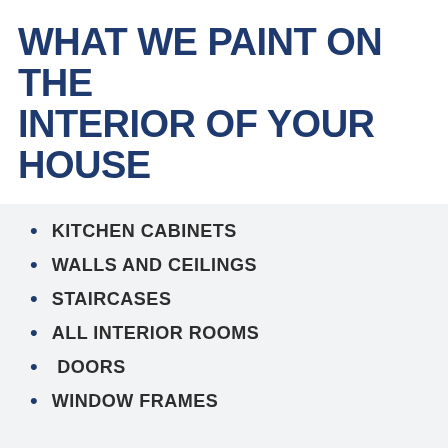WHAT WE PAINT ON THE INTERIOR OF YOUR HOUSE
KITCHEN CABINETS
WALLS AND CEILINGS
STAIRCASES
ALL INTERIOR ROOMS
DOORS
WINDOW FRAMES
MOLDING AND TRIM
BASEBOARDS